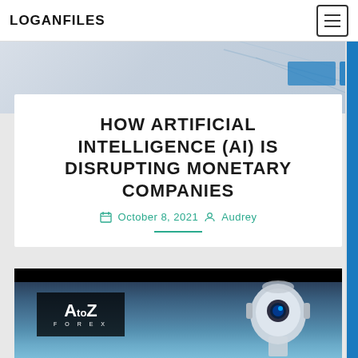LOGANFILES
HOW ARTIFICIAL INTELLIGENCE (AI) IS DISRUPTING MONETARY COMPANIES
October 8, 2021  Audrey
[Figure (photo): Feature image showing AtoZ Forex logo and a futuristic robot/AI head on a blue tech background]